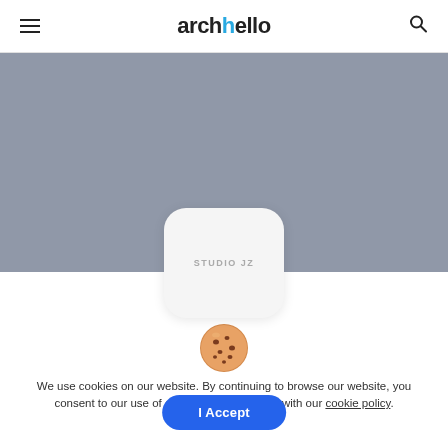archello
[Figure (photo): Gray hero image placeholder area]
[Figure (logo): Studio JZ rounded square logo card with light gray background]
[Figure (illustration): Cookie emoji icon - chocolate chip cookie]
We use cookies on our website. By continuing to browse our website, you consent to our use of cookies in accordance with our cookie policy.
I Accept